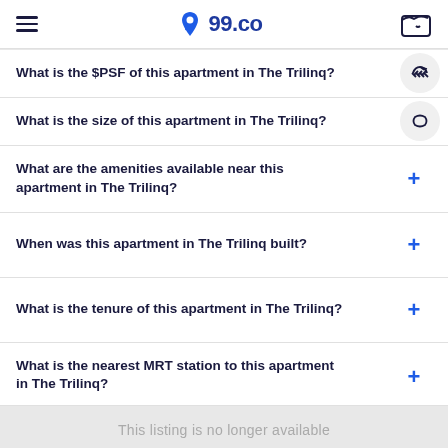99.co
What is the $PSF of this apartment in The Trilinq?
What is the size of this apartment in The Trilinq?
What are the amenities available near this apartment in The Trilinq?
When was this apartment in The Trilinq built?
What is the tenure of this apartment in The Trilinq?
What is the nearest MRT station to this apartment in The Trilinq?
This listing is no longer available
Trilinq?